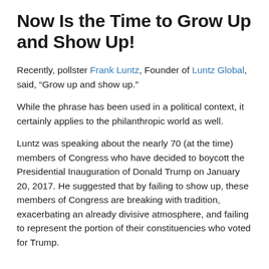Now Is the Time to Grow Up and Show Up!
Recently, pollster Frank Luntz, Founder of Luntz Global, said, “Grow up and show up.”
While the phrase has been used in a political context, it certainly applies to the philanthropic world as well.
Luntz was speaking about the nearly 70 (at the time) members of Congress who have decided to boycott the Presidential Inauguration of Donald Trump on January 20, 2017. He suggested that by failing to show up, these members of Congress are breaking with tradition, exacerbating an already divisive atmosphere, and failing to represent the portion of their constituencies who voted for Trump.